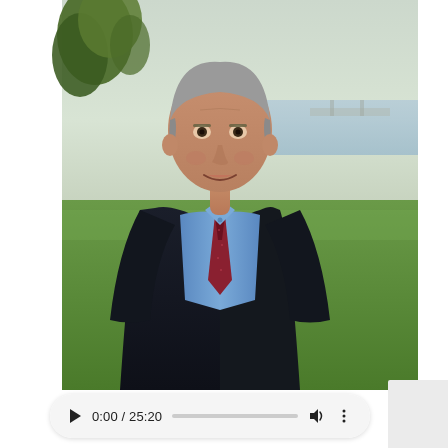[Figure (photo): A middle-aged man with grey hair, wearing a dark navy blazer, light blue button-down shirt, and a dark red/burgundy patterned tie. He is smiling and standing outdoors in front of a grassy area with water/harbor and trees in the background. The lighting suggests late afternoon or early evening.]
0:00 / 25:20